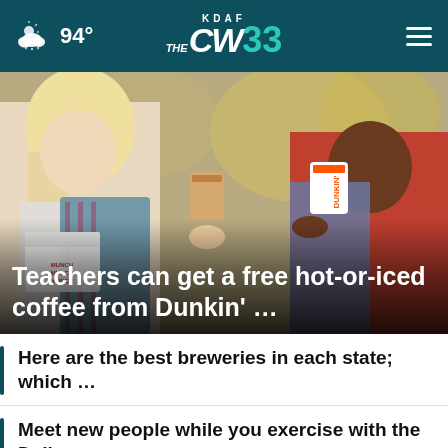KDAF CW 33 — 94°
[Figure (photo): Two women outdoors clinking Dunkin' coffee cups, one holding a Munchkins box. Blurred autumn background.]
Teachers can get a free hot-or-iced coffee from Dunkin' …
Here are the best breweries in each state; which …
Meet new people while you exercise with the Dallas …